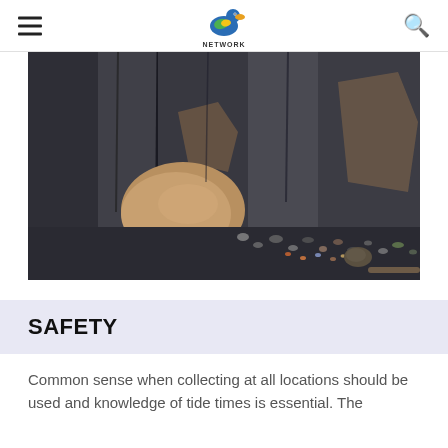Lake Fossils Network
[Figure (photo): Rocky cliff face with dark layered rock and fallen sandy-coloured boulders on a pebbly beach shoreline]
SAFETY
Common sense when collecting at all locations should be used and knowledge of tide times is essential. The